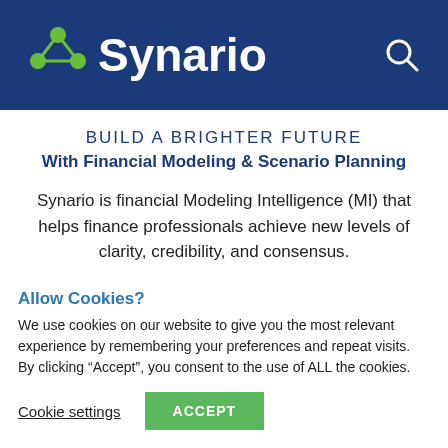Synario
BUILD A BRIGHTER FUTURE
With Financial Modeling & Scenario Planning
Synario is financial Modeling Intelligence (MI) that helps finance professionals achieve new levels of clarity, credibility, and consensus.
Allow Cookies?
We use cookies on our website to give you the most relevant experience by remembering your preferences and repeat visits. By clicking “Accept”, you consent to the use of ALL the cookies.
Cookie settings  ACCEPT